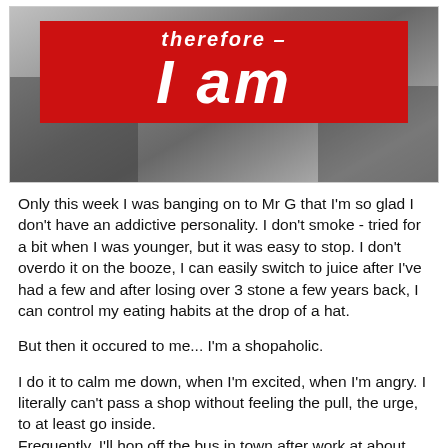[Figure (illustration): Artwork showing a red banner with white italic text reading 'therefore =' on top and 'I am' in large letters below, overlaid on a black-and-white photograph of a person's torso/hands.]
Only this week I was banging on to Mr G that I'm so glad I don't have an addictive personality. I don't smoke - tried for a bit when I was younger, but it was easy to stop. I don't overdo it on the booze, I can easily switch to juice after I've had a few and after losing over 3 stone a few years back, I can control my eating habits at the drop of a hat.
But then it occured to me... I'm a shopaholic.
I do it to calm me down, when I'm excited, when I'm angry. I literally can't pass a shop without feeling the pull, the urge, to at least go inside.
Frequently, I'll hop off the bus in town after work at about 5.25pm. Do a full circle of Frasers ground floor (jewellery, shoes, make-up and perfume), out onto Argyle Street